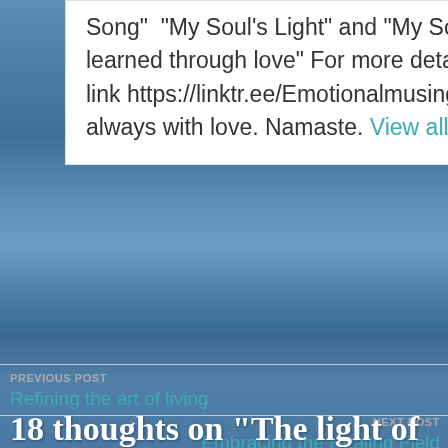Song"  "My Soul's Light" and "My Soul's Journey:Lessons learned through love" For more detailed information follow this link https://linktr.ee/Emotionalmusings In light and in shadow, always with love. Namaste. View all posts by MariaTeresa
PREVIOUS POST
Refining the art of living
NEXT POST
Embracing the Healing Field
18 thoughts on "The light of